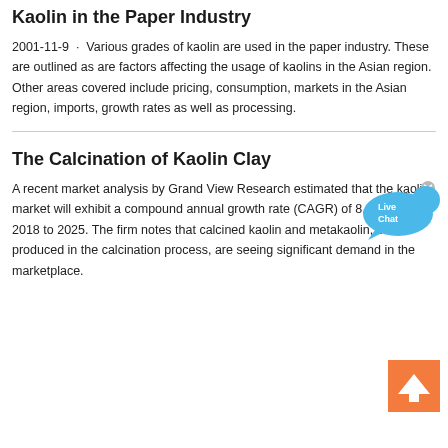Kaolin in the Paper Industry
2001-11-9 · Various grades of kaolin are used in the paper industry. These are outlined as are factors affecting the usage of kaolins in the Asian region. Other areas covered include pricing, consumption, markets in the Asian region, imports, growth rates as well as processing.
The Calcination of Kaolin Clay
A recent market analysis by Grand View Research estimated that the kaolin market will exhibit a compound annual growth rate (CAGR) of 8.8% from 2018 to 2025. The firm notes that calcined kaolin and metakaolin, both produced in the calcination process, are seeing significant demand in the marketplace.
[Figure (infographic): Live Chat button with blue speech bubble graphic in top right area]
[Figure (infographic): Back to top arrow button, orange square with upward pointing arrow, bottom right]